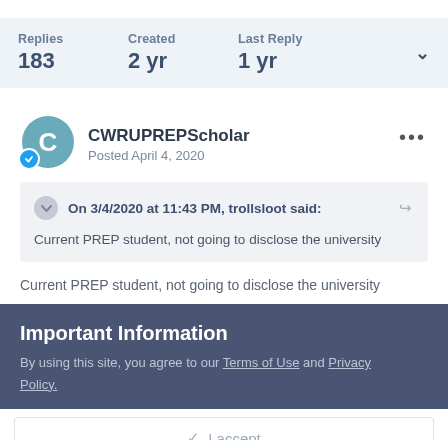Replies 183 | Created 2 yr | Last Reply 1 yr
CWRUPREPScholar
Posted April 4, 2020
On 3/4/2020 at 11:43 PM, trollsloot said:
Current PREP student, not going to disclose the university
Important Information
By using this site, you agree to our Terms of Use and Privacy Policy.
✓  I accept